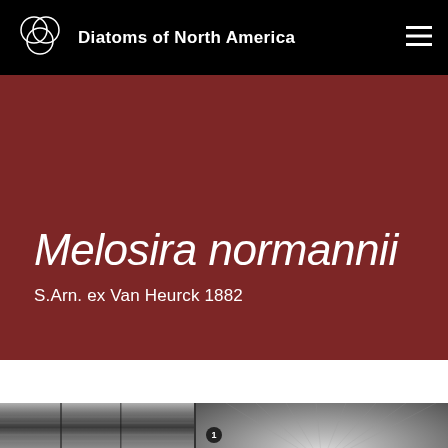Diatoms of North America
Melosira normannii
S.Arn. ex Van Heurck 1882
[Figure (photo): Two microscopy images of Melosira normannii diatom. Left image shows a side/girdle view with fine striae patterns in black and white transmitted light microscopy. Right image shows a valve view of the circular diatom with radial striae, labeled with number 1.]